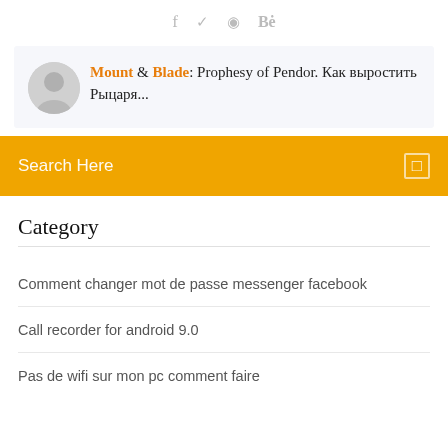f  ✦  ✦  Bë
Mount & Blade: Prophesy of Pendor. Как выростить Рыцаря...
Search Here
Category
Comment changer mot de passe messenger facebook
Call recorder for android 9.0
Pas de wifi sur mon pc comment faire